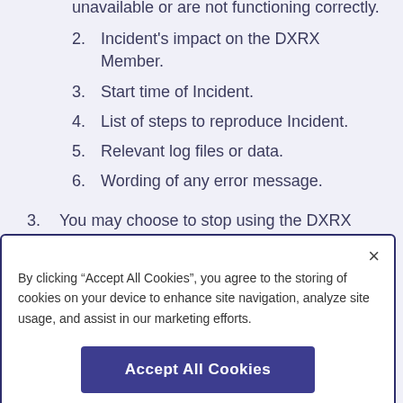2. Incident's impact on the DXRX Member.
3. Start time of Incident.
4. List of steps to reproduce Incident.
5. Relevant log files or data.
6. Wording of any error message.
3. You may choose to stop using the DXRX Services, terminate your DXRX Membership (or your access to any DXRX Service) at any time for any reason by
By clicking “Accept All Cookies”, you agree to the storing of cookies on your device to enhance site navigation, analyze site usage, and assist in our marketing efforts.
Accept All Cookies
Cookies Settings